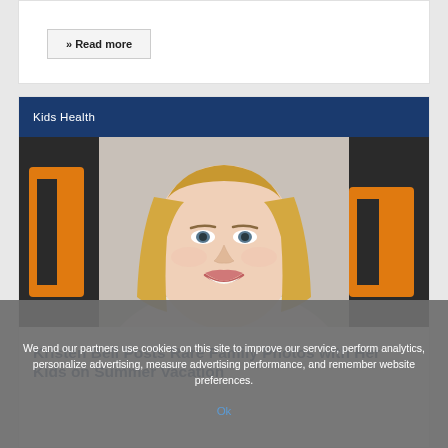» Read more
Kids Health
[Figure (photo): Close-up photo of a smiling blonde woman (Kristen Bell) at what appears to be an event with orange and dark background signage]
Kristen Bell Posts Rare Family Photos with Her Kids on Summer Vacation
We and our partners use cookies on this site to improve our service, perform analytics, personalize advertising, measure advertising performance, and remember website preferences.
Ok